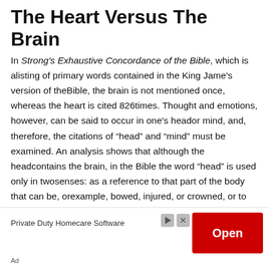The Heart Versus The Brain
In Strong's Exhaustive Concordance of the Bible, which is alisting of primary words contained in the King Jame's version of theBible, the brain is not mentioned once, whereas the heart is cited 826times. Thought and emotions, however, can be said to occur in one's heador mind, and, therefore, the citations of “head” and “mind” must be examined. An analysis shows that although the headcontains the brain, in the Bible the word “head” is used only in twosenses: as a reference to that part of the body that can be, orexample, bowed, injured, or crowned, or to represent leadership whensomeone is described as being the “head” of a household, church, or agovernment. But the “head” is not represented as the site where allthinking and emotional
Private Duty Homecare Software
Ad
Open